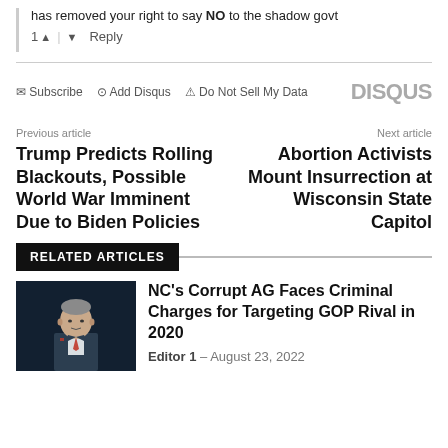has removed your right to say NO to the shadow govt
1 ↑ | ↓ Reply
✉ Subscribe  ⊙ Add Disqus  ⚠ Do Not Sell My Data   DISQUS
Previous article
Trump Predicts Rolling Blackouts, Possible World War Imminent Due to Biden Policies
Next article
Abortion Activists Mount Insurrection at Wisconsin State Capitol
RELATED ARTICLES
[Figure (photo): A man in a suit at a podium or press conference setting]
NC's Corrupt AG Faces Criminal Charges for Targeting GOP Rival in 2020
Editor 1 – August 23, 2022